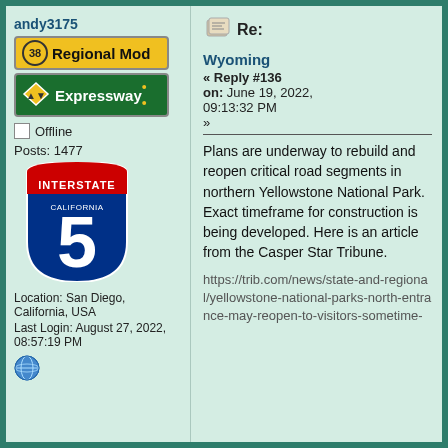andy3175
[Figure (illustration): Regional Mod badge with number 38]
[Figure (illustration): Expressway badge with diamond warning signs icon]
Offline
Posts: 1477
[Figure (illustration): Interstate 5 California highway shield logo]
Location: San Diego, California, USA
Last Login: August 27, 2022, 08:57:19 PM
[Figure (illustration): Globe/web icon]
Re:
Wyoming
« Reply #136 on: June 19, 2022, 09:13:32 PM »
Plans are underway to rebuild and reopen critical road segments in northern Yellowstone National Park. Exact timeframe for construction is being developed. Here is an article from the Casper Star Tribune.
https://trib.com/news/state-and-regional/yellowstone-national-parks-north-entrance-may-reopen-to-visitors-sometime-